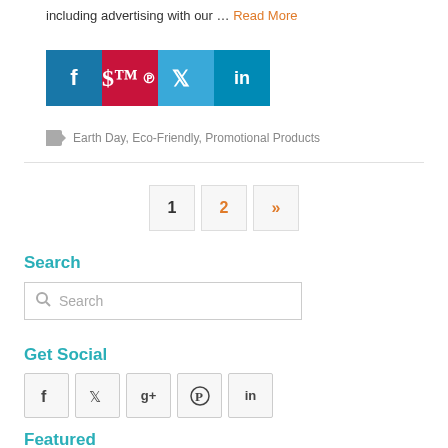including advertising with our ... Read More
[Figure (infographic): Row of social share buttons: Facebook (blue), Pinterest (red), Twitter (light blue), LinkedIn (teal)]
Earth Day, Eco-Friendly, Promotional Products
Pagination: 1, 2, »
Search
Search (input box)
Get Social
[Figure (infographic): Row of social media icon boxes: Facebook, Twitter, Google+, Pinterest, LinkedIn]
Featured